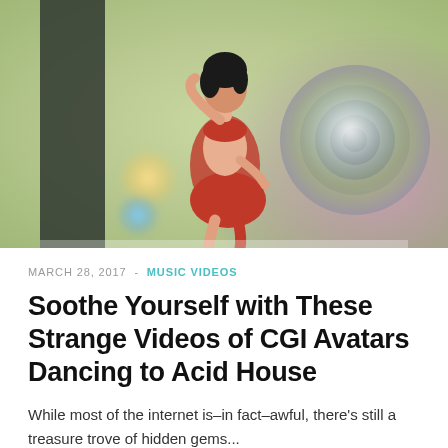[Figure (illustration): A CGI avatar of a woman with black hair in a red bikini dancing in a colorful psychedelic environment with glowing orbs and swirling patterns.]
MARCH 28, 2017 - MUSIC VIDEOS
Soothe Yourself with These Strange Videos of CGI Avatars Dancing to Acid House
While most of the internet is–in fact–awful, there's still a treasure trove of hidden gems...